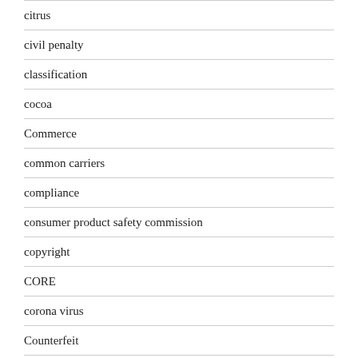citrus
civil penalty
classification
cocoa
Commerce
common carriers
compliance
consumer product safety commission
copyright
CORE
corona virus
Counterfeit
countervailing duty
country of origin